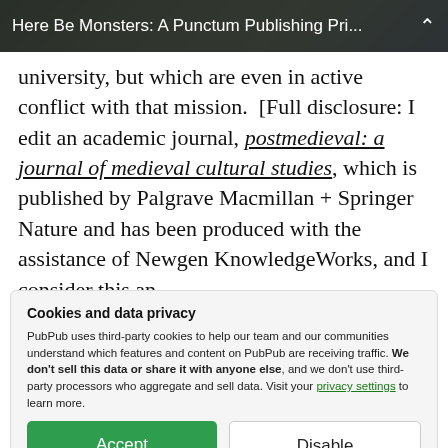Here Be Monsters: A Punctum Publishing Pri...
university, but which are even in active conflict with that mission.  [Full disclosure: I edit an academic journal, postmedieval: a journal of medieval cultural studies, which is published by Palgrave Macmillan + Springer Nature and has been produced with the assistance of Newgen KnowledgeWorks, and I consider this an
Cookies and data privacy
PubPub uses third-party cookies to help our team and our communities understand which features and content on PubPub are receiving traffic. We don't sell this data or share it with anyone else, and we don't use third-party processors who aggregate and sell data. Visit your privacy settings to learn more.
about it myself. I treat this